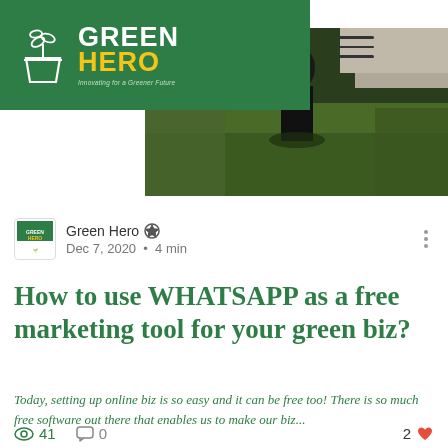[Figure (logo): Green Hero logo on green navigation bar with plant icon]
[Figure (photo): Outdoor photo showing grass and dark-colored objects/person, hero image for blog post]
Green Hero • Dec 7, 2020 • 4 min
How to use WHATSAPP as a free marketing tool for your green biz?
Today, setting up online biz is so easy and it can be free too! There is so much free software out there that enables us to make our biz...
41 views  0 comments  2 likes